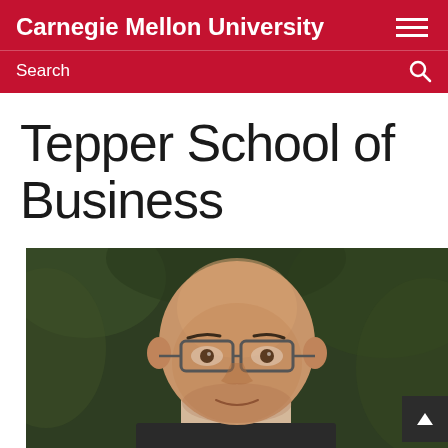Carnegie Mellon University
Search
Tepper School of Business
[Figure (photo): Headshot of a bald man wearing glasses, photographed outdoors against a dark green blurred background. The photo is cropped to show the head and upper shoulders.]